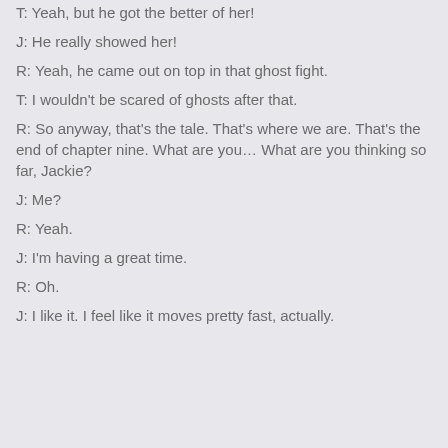T: Yeah, but he got the better of her!
J: He really showed her!
R: Yeah, he came out on top in that ghost fight.
T: I wouldn't be scared of ghosts after that.
R: So anyway, that's the tale. That's where we are. That's the end of chapter nine. What are you… What are you thinking so far, Jackie?
J: Me?
R: Yeah.
J: I'm having a great time.
R: Oh.
J: I like it. I feel like it moves pretty fast, actually.